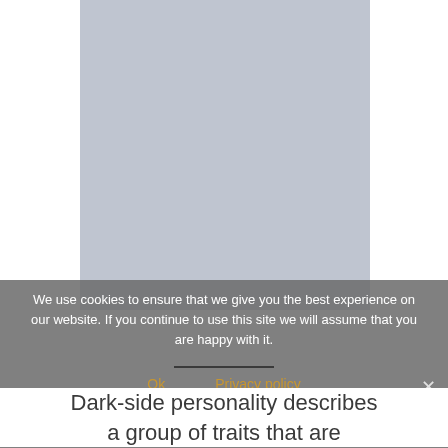[Figure (other): A large light gray placeholder rectangle representing an image on a white page background]
We use cookies to ensure that we give you the best experience on our website. If you continue to use this site we will assume that you are happy with it.
Ok   Privacy policy
Dark-side personality describes a group of traits that are